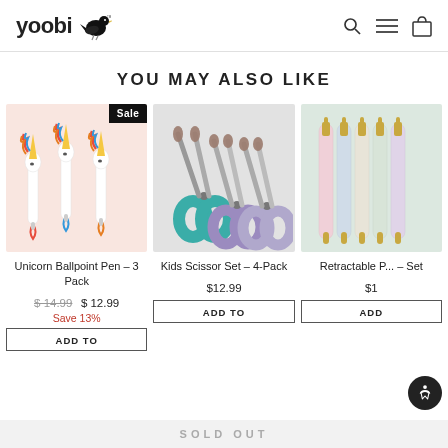yoobi
YOU MAY ALSO LIKE
[Figure (photo): Unicorn Ballpoint Pen - 3 Pack product image on pink background with Sale badge]
Unicorn Ballpoint Pen – 3 Pack
$14.99  $12.99  Save 13%
[Figure (photo): Kids Scissor Set - 4-Pack product image on gray background]
Kids Scissor Set – 4-Pack
$12.99
[Figure (photo): Retractable Pen Set product image on mint background]
Retractable P... – Set
SOLD OUT